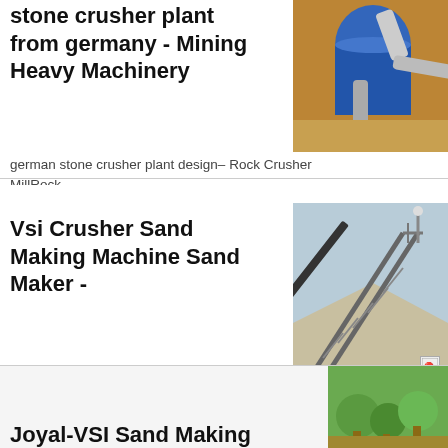stone crusher plant from germany - Mining Heavy Machinery
[Figure (photo): Industrial crusher/mill machinery with blue tank and silver pipes]
german stone crusher plant design– Rock Crusher MillRock....
Vsi Crusher Sand Making Machine Sand Maker -
[Figure (photo): Conveyor belt structure at a sand/aggregate facility]
The JOYAL VSI Sand Making Machine is improved on the basis...
[Figure (photo): Broken/missing image icon thumbnail]
Joyal-VSI Sand Making